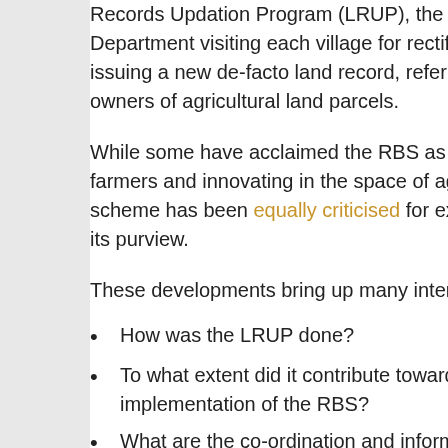Records Updation Program (LRUP), the drive in Department visiting each village for rectifying e issuing a new de-facto land record, referred to a owners of agricultural land parcels.
While some have acclaimed the RBS as a succ farmers and innovating in the space of agricultu scheme has been equally criticised for excludin its purview.
These developments bring up many interesting
How was the LRUP done?
To what extent did it contribute towards th implementation of the RBS?
What are the co-ordination and informatio between the Revenue and Agriculture Dep